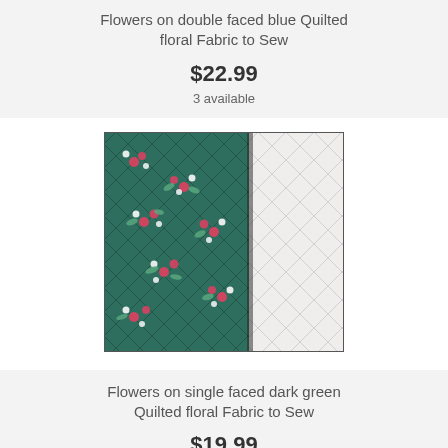Flowers on double faced blue Quilted floral Fabric to Sew
$22.99
3 available
[Figure (photo): Close-up photo of quilted floral fabric showing dark green side with red and white flowers and diamond quilting pattern, folded to reveal white quilted backing.]
Flowers on single faced dark green Quilted floral Fabric to Sew
$19.99